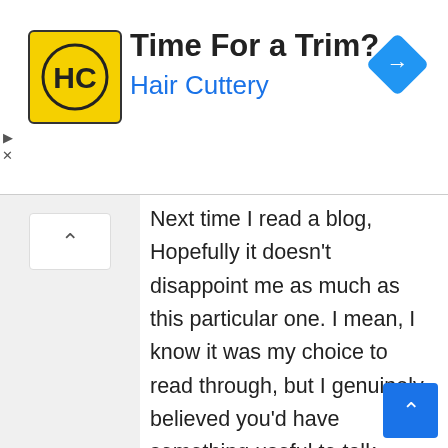[Figure (infographic): Advertisement banner for Hair Cuttery with logo, text 'Time For a Trim?' and 'Hair Cuttery', and a blue navigation icon on the right.]
Next time I read a blog, Hopefully it doesn't disappoint me as much as this particular one. I mean, I know it was my choice to read through, but I genuinely believed you'd have something useful to talk about. All I hear is a bunch of complaining about something you could possibly fix if you weren't too